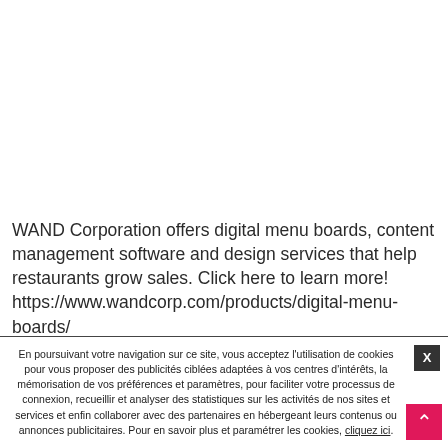WAND Corporation offers digital menu boards, content management software and design services that help restaurants grow sales. Click here to learn more! https://www.wandcorp.com/products/digital-menu-boards/
En poursuivant votre navigation sur ce site, vous acceptez l'utilisation de cookies pour vous proposer des publicités ciblées adaptées à vos centres d'intérêts, la mémorisation de vos préférences et paramètres, pour faciliter votre processus de connexion, recueillir et analyser des statistiques sur les activités de nos sites et services et enfin collaborer avec des partenaires en hébergeant leurs contenus ou annonces publicitaires. Pour en savoir plus et paramétrer les cookies, cliquez ici.